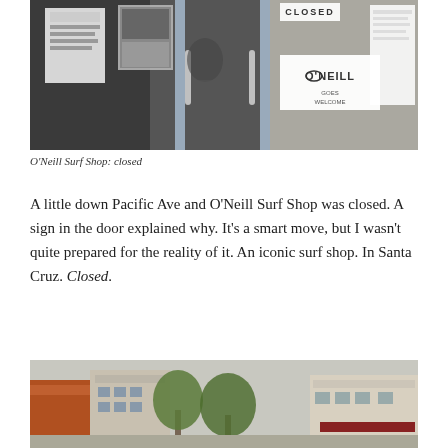[Figure (photo): O'Neill Surf Shop storefront with closed sign on door, signs in window, O'Neill logo visible]
O'Neill Surf Shop: closed
A little down Pacific Ave and O'Neill Surf Shop was closed. A sign in the door explained why. It's a smart move, but I wasn't quite prepared for the reality of it. An iconic surf shop. In Santa Cruz. Closed.
[Figure (photo): Street view of downtown Santa Cruz Pacific Avenue with buildings and trees]